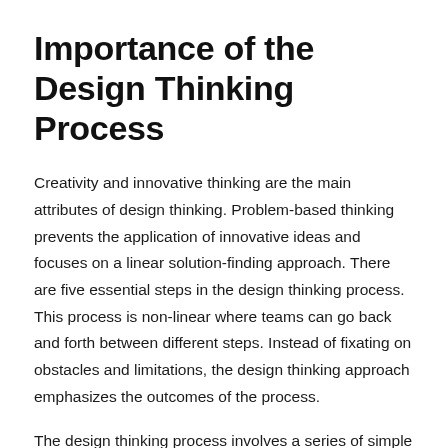Importance of the Design Thinking Process
Creativity and innovative thinking are the main attributes of design thinking. Problem-based thinking prevents the application of innovative ideas and focuses on a linear solution-finding approach. There are five essential steps in the design thinking process. This process is non-linear where teams can go back and forth between different steps. Instead of fixating on obstacles and limitations, the design thinking approach emphasizes the outcomes of the process.
The design thinking process involves a series of simple steps or stages to find the problem faced by the organization and its customers. The prime objective of this approach is to deal with a problem from a human...